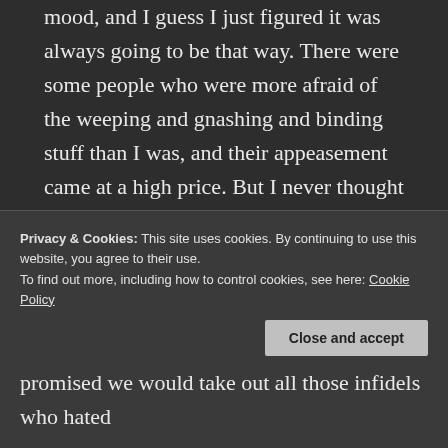mood, and I guess I just figured it was always going to be that way. There were some people who were more afraid of the weeping and gnashing and binding stuff than I was, and their appeasement came at a high price. But I never thought that way. I wholly bought into the “peace on earth goodwill to men” fraud.

Back in my willfully-blind-and-ignorant-in-the-name-of-Jesus days, I even bought into George W. Bush’s installation of a new Christian religion in the USA that was
Privacy & Cookies: This site uses cookies. By continuing to use this website, you agree to their use.
To find out more, including how to control cookies, see here: Cookie Policy
promised we would take out all those infidels who hated